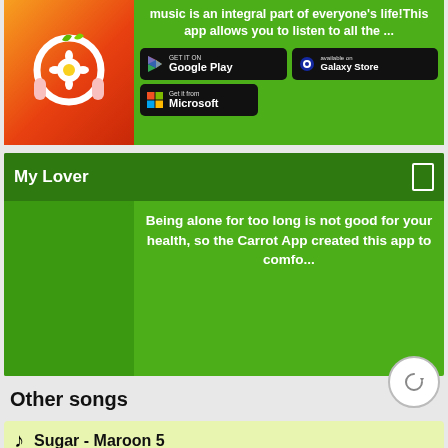[Figure (screenshot): App listing card with headphone icon on orange-red gradient background, green background with description text and store download buttons for Google Play, Samsung Galaxy Store, and Microsoft]
music is an integral part of everyone's life!This app allows you to listen to all the ...
[Figure (screenshot): My Lover app card with dark green header, app description text on green background]
Being alone for too long is not good for your health, so the Carrot App created this app to comfo...
Other songs
Sugar - Maroon 5
lyrics